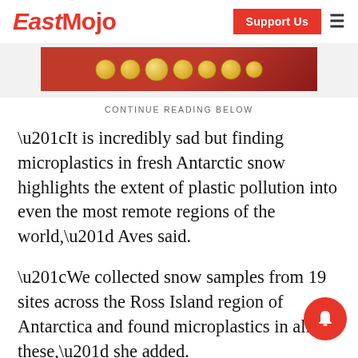EastMojo | Support Us
[Figure (photo): Advertisement banner with red background and gold coins]
CONTINUE READING BELOW
“It is incredibly sad but finding microplastics in fresh Antarctic snow highlights the extent of plastic pollution into even the most remote regions of the world,” Aves said.
“We collected snow samples from 19 sites across the Ross Island region of Antarctica and found microplastics in all of these,” she added.